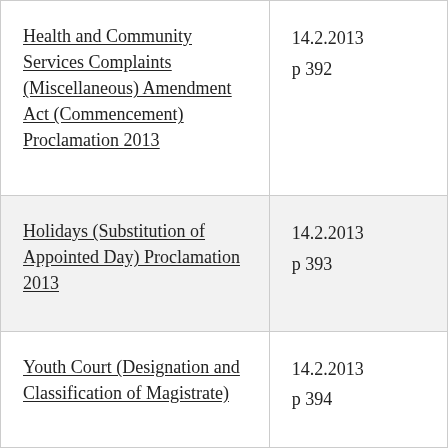| Health and Community Services Complaints (Miscellaneous) Amendment Act (Commencement) Proclamation 2013 | 14.2.2013
p 392 |
| Holidays (Substitution of Appointed Day) Proclamation 2013 | 14.2.2013
p 393 |
| Youth Court (Designation and Classification of Magistrate) | 14.2.2013
p 394 |